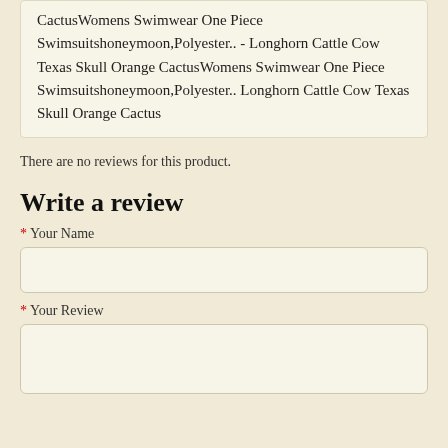CactusWomens Swimwear One Piece Swimsuitshoneymoon,Polyester.. - Longhorn Cattle Cow Texas Skull Orange CactusWomens Swimwear One Piece Swimsuitshoneymoon,Polyester.. Longhorn Cattle Cow Texas Skull Orange Cactus
There are no reviews for this product.
Write a review
* Your Name
* Your Review